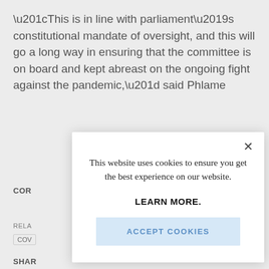“This is in line with parliament’s constitutional mandate of oversight, and this will go a long way in ensuring that the committee is on board and kept abreast on the ongoing fight against the pandemic,” said Phlame
COR…
RELA…
COV…
SHAR…
[Figure (screenshot): Cookie consent modal dialog overlay on a news website. The modal contains a close button (X), the text 'This website uses cookies to ensure you get the best experience on our website.', a bold link 'LEARN MORE.', and a blue button 'ACCEPT COOKIES'.]